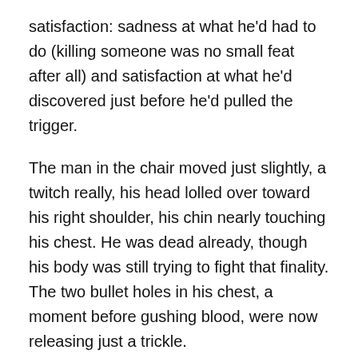satisfaction: sadness at what he'd had to do (killing someone was no small feat after all) and satisfaction at what he'd discovered just before he'd pulled the trigger.
The man in the chair moved just slightly, a twitch really, his head lolled over toward his right shoulder, his chin nearly touching his chest. He was dead already, though his body was still trying to fight that finality. The two bullet holes in his chest, a moment before gushing blood, were now releasing just a trickle.
After a few seconds, the man in the chair finally relaxed fully, his body sagging forward, the bonds tying him to the chair the only thing keeping him from falling to the floor.